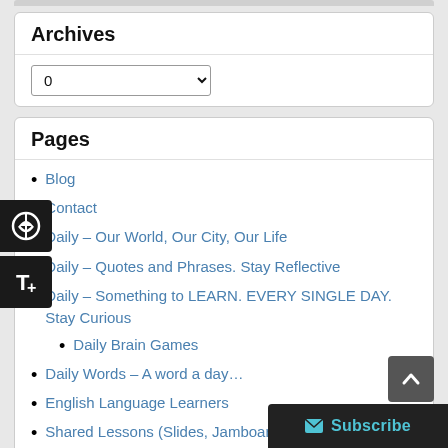Archives
0 (dropdown)
Pages
Blog
Contact
Daily – Our World, Our City, Our Life
Daily – Quotes and Phrases. Stay Reflective
Daily – Something to LEARN. EVERY SINGLE DAY. Stay Curious
Daily Brain Games
Daily Words – A word a day…
English Language Learners
Shared Lessons (Slides, Jamboards, Games, Plan)
Welcome
The Daily's